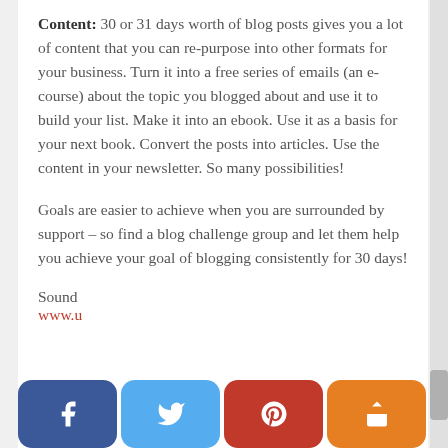Content: 30 or 31 days worth of blog posts gives you a lot of content that you can re-purpose into other formats for your business.  Turn it into a free series of emails (an e-course) about the topic you blogged about and use it to build your list.  Make it into an ebook.  Use it as a basis for your next book.  Convert the posts into articles.  Use the content in your newsletter.  So many possibilities!
Goals are easier to achieve when you are surrounded by support – so find a blog challenge group and let them help you achieve your goal of blogging consistently for 30 days!
Sound